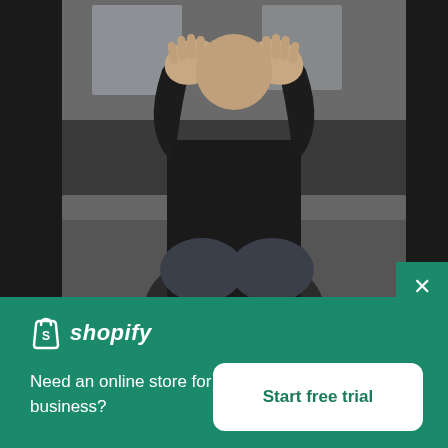[Figure (photo): A person in a black outfit sitting on a dark couch, head bowed and hands covering their face in a distressed or stressed pose, shot from the front with a blurred indoor background.]
[Figure (logo): Shopify logo — white shopping bag icon with the letter S, followed by the word 'shopify' in white italic text on a green background.]
Need an online store for your business?
Start free trial